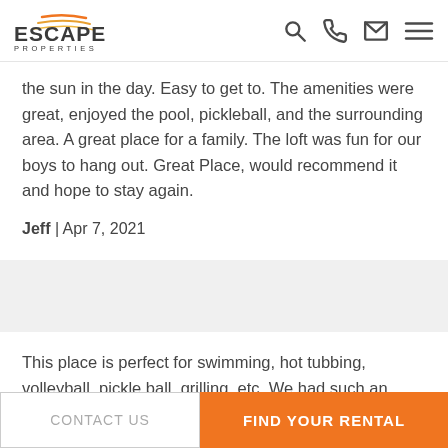Escape Properties — navigation header with logo and icons
the sun in the day. Easy to get to. The amenities were great, enjoyed the pool, pickleball, and the surrounding area. A great place for a family. The loft was fun for our boys to hang out. Great Place, would recommend it and hope to stay again.
Jeff | Apr 7, 2021
This place is perfect for swimming, hot tubbing, volleyball, pickle ball, grilling, etc. We had such an enjoyable stay and the condo met our every need! :)
CONTACT US | FIND YOUR RENTAL